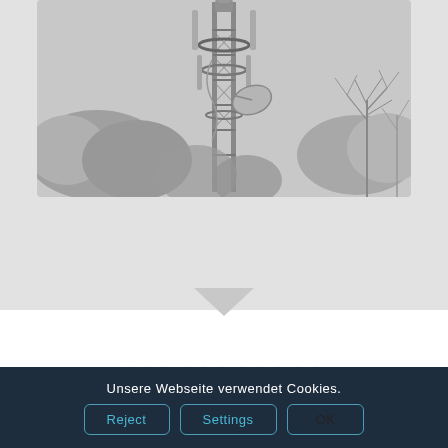[Figure (photo): Black and white photograph of a telecommunications tower with antennas and satellite dishes, surrounded by bare trees against a gray sky.]
Unsere Webseite verwendet Cookies.
Reject   Settings   OK